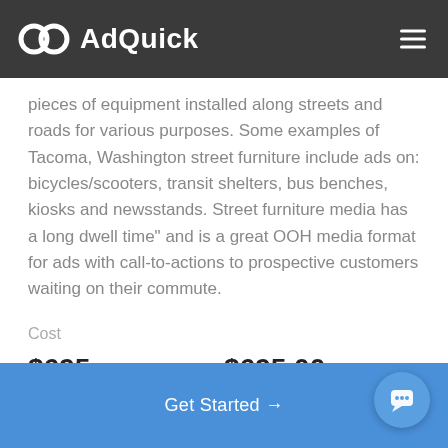AdQuick
pieces of equipment installed along streets and roads for various purposes. Some examples of Tacoma, Washington street furniture include ads on: bicycles/scooters, transit shelters, bus benches, kiosks and newsstands. Street furniture media has a long dwell time" and is a great OOH media format for ads with call-to-actions to prospective customers waiting on their commute.
Cost
$695 — Average cost
$695.00 — Lowest price
Get Started →